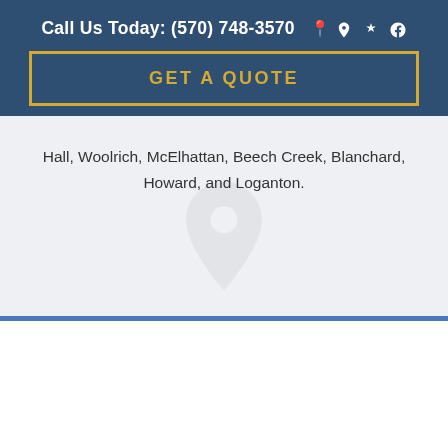Call Us Today: (570) 748-3570
GET A QUOTE
Hall, Woolrich, McElhattan, Beech Creek, Blanchard, Howard, and Loganton.